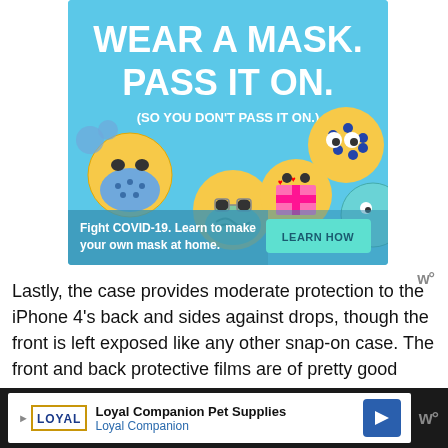[Figure (illustration): COVID-19 mask awareness advertisement banner with light blue background, featuring emoji characters wearing masks. Text reads 'WEAR A MASK. PASS IT ON. (SO YOU DON'T PASS IT ON.)' with a call-to-action 'Fight COVID-19. Learn to make your own mask at home. LEARN HOW' button.]
Lastly, the case provides moderate protection to the iPhone 4’s back and sides against drops, though the front is left exposed like any other snap-on case. The front and back protective films are of pretty good quality and should be more than enough to protect against minor scratches.
[Figure (screenshot): Loyal Companion Pet Supplies advertisement banner at bottom of page showing the Loyal logo, company name, and a blue navigation arrow icon.]